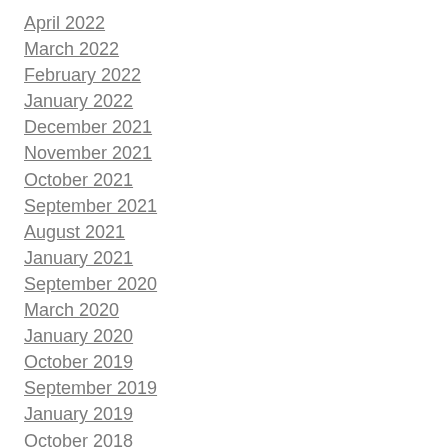April 2022
March 2022
February 2022
January 2022
December 2021
November 2021
October 2021
September 2021
August 2021
January 2021
September 2020
March 2020
January 2020
October 2019
September 2019
January 2019
October 2018
September 2018
August 2018